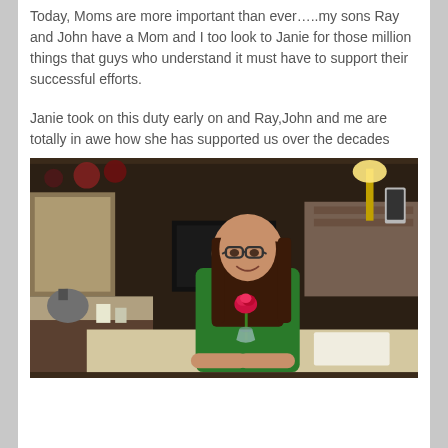Today, Moms are more important than ever…..my sons Ray and John have a Mom and I too look to Janie for those million things that guys who understand it must have to support their successful efforts.
Janie took on this duty early on and Ray,John and me are totally in awe how she has supported us over the decades
[Figure (photo): A woman with long dark hair and glasses wearing a green shirt, sitting at a kitchen table with a single red rose in a small glass vase in front of her. The kitchen background shows appliances, pots and pans, and shelving.]